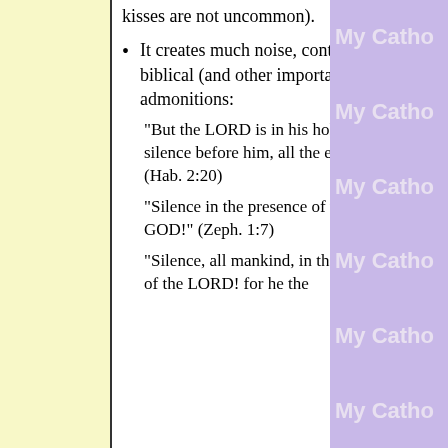kisses are not uncommon).
It creates much noise, contrary to biblical (and other important) admonitions:
"But the LORD is in his holy temple; silence before him, all the earth!" (Hab. 2:20)
"Silence in the presence of the Lord GOD!" (Zeph. 1:7)
"Silence, all mankind, in the presence of the LORD! for he the